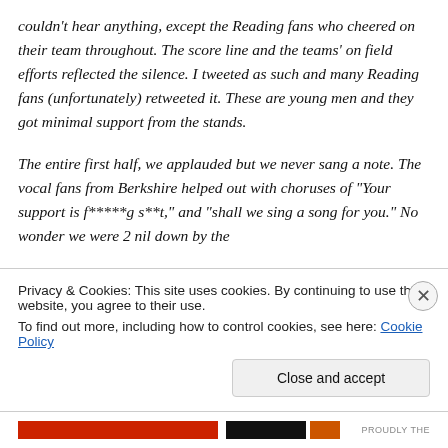couldn't hear anything, except the Reading fans who cheered on their team throughout. The score line and the teams' on field efforts reflected the silence. I tweeted as such and many Reading fans (unfortunately) retweeted it. These are young men and they got minimal support from the stands.

The entire first half, we applauded but we never sang a note. The vocal fans from Berkshire helped out with choruses of "Your support is f*****g s**t," and "shall we sing a song for you." No wonder we were 2 nil down by the
Privacy & Cookies: This site uses cookies. By continuing to use this website, you agree to their use.
To find out more, including how to control cookies, see here: Cookie Policy
Close and accept